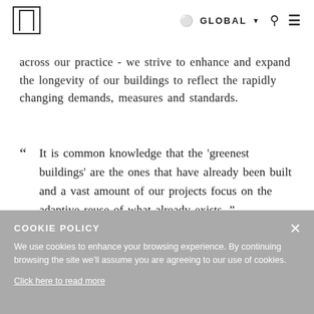GLOBAL
across our practice - we strive to enhance and expand the longevity of our buildings to reflect the rapidly changing demands, measures and standards.
" It is common knowledge that the 'greenest buildings' are the ones that have already been built and a vast amount of our projects focus on the adaptive reuse of what already exists. "
COOKIE POLICY
We use cookies to enhance your browsing experience. By continuing browsing the site we'll assume you are agreeing to our use of cookies.
Click here to read more